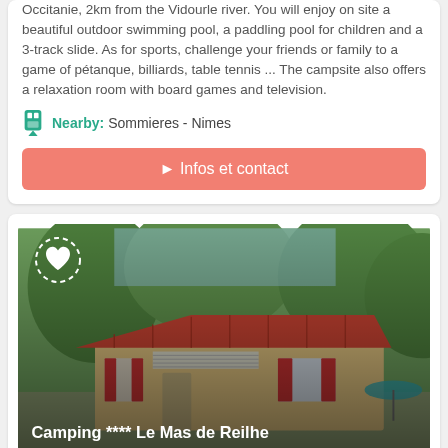Occitanie, 2km from the Vidourle river. You will enjoy on site a beautiful outdoor swimming pool, a paddling pool for children and a 3-track slide. As for sports, challenge your friends or family to a game of pétanque, billiards, table tennis ... The campsite also offers a relaxation room with board games and television.
Nearby: Sommieres - Nimes
► Infos et contact
[Figure (photo): Exterior photo of a mobile home / bungalow with red-tiled roof, red shutters and striped awning, surrounded by trees. Title overlay reads: Camping **** Le Mas de Reilhe]
Campsite in Crespian
30260 Crespian ♦ Gard